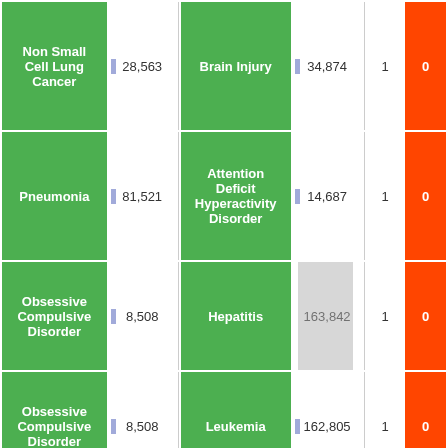| Disease | Count | Disease | Count | Trials |  |
| --- | --- | --- | --- | --- | --- |
| Non Small Cell Lung Cancer | 28,563 | Brain Injury | 34,874 | 1 | 0 |
| Pneumonia | 81,521 | Attention Deficit Hyperactivity Disorder | 14,687 | 1 | 0 |
| Obsessive Compulsive Disorder | 8,508 | Hepatitis | 163,842 | 1 | 0 |
| Obsessive Compulsive Disorder | 8,508 | Leukemia | 162,805 | 1 | 0 |
| Cervical Cancer | 28,286 | Brain Injury | 34,874 | 1 | 0 |
| Carcinoma | 433,099 | Acute Coronary Syndromes | 9,133 | 3 | 0 |
| Autism | 20,962 | Liver Disease | 49,817 | 1 | 0 |
| Brain Injury | 34,874 | Psoriasis | 26,882 | 1 | 0 |